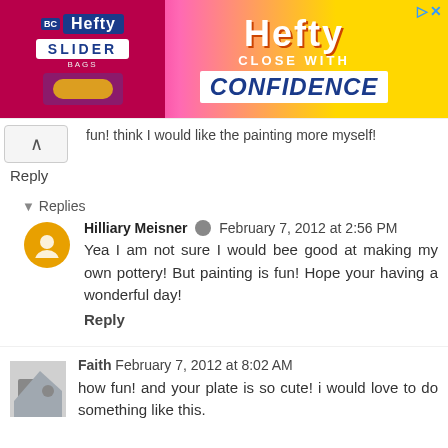[Figure (illustration): Hefty brand advertisement banner with Hefty Slider bags product image on pink/magenta and yellow gradient background, showing 'Hefty CLOSE WITH CONFIDENCE' text]
fun! think I would like the painting more myself!
Reply
▼ Replies
Hilliary Meisner [edit icon] February 7, 2012 at 2:56 PM
Yea I am not sure I would bee good at making my own pottery! But painting is fun! Hope your having a wonderful day!
Reply
Faith February 7, 2012 at 8:02 AM
how fun! and your plate is so cute! i would love to do something like this.